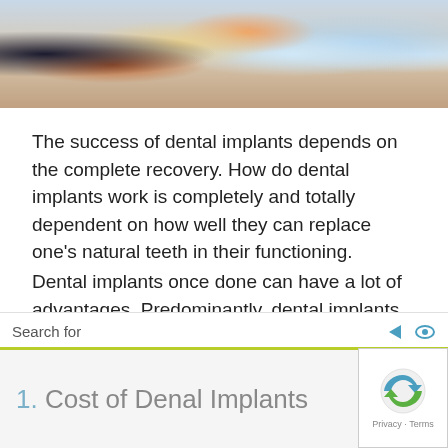[Figure (photo): A photograph showing dental/medical supplies and colorful items on a surface, cropped at the top of the page]
The success of dental implants depends on the complete recovery. How do dental implants work is completely and totally dependent on how well they can replace one's natural teeth in their functioning.
Dental implants once done can have a lot of advantages. Predominantly, dental implants provide an improved appearance and comfort. Ill-fitting dentures can result in improper speech
Search for
1.  Cost of Denal Implants